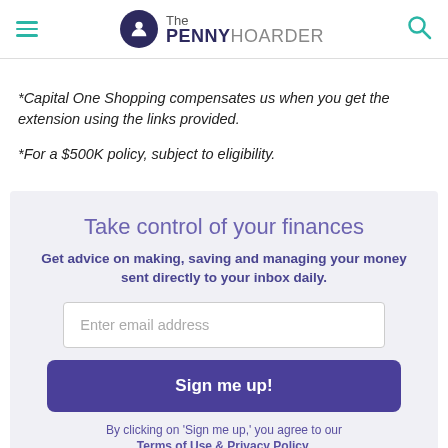The PENNY HOARDER
*Capital One Shopping compensates us when you get the extension using the links provided.
*For a $500K policy, subject to eligibility.
Take control of your finances
Get advice on making, saving and managing your money sent directly to your inbox daily.
Enter email address
Sign me up!
By clicking on 'Sign me up,' you agree to our Terms of Use & Privacy Policy.